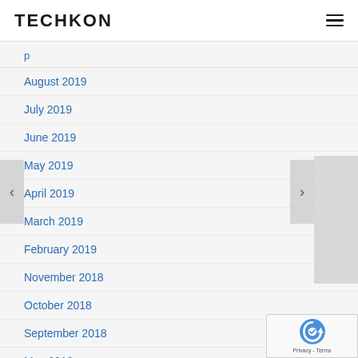TECHKON
August 2019
July 2019
June 2019
May 2019
April 2019
March 2019
February 2019
November 2018
October 2018
September 2018
May 2018
April 2018
February 2018